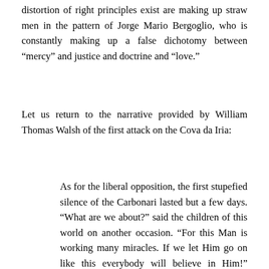distortion of right principles exist are making up straw men in the pattern of Jorge Mario Bergoglio, who is constantly making up a false dichotomy between “mercy” and justice and doctrine and “love.”
Let us return to the narrative provided by William Thomas Walsh of the first attack on the Cova da Iria:
As for the liberal opposition, the first stupefied silence of the Carbonari lasted but a few days. “What are we about?” said the children of this world on another occasion. “For this Man is working many miracles. If we let Him go on like this everybody will believe in Him!” Within a week the Grand Orient lodge of Santarem had recovered